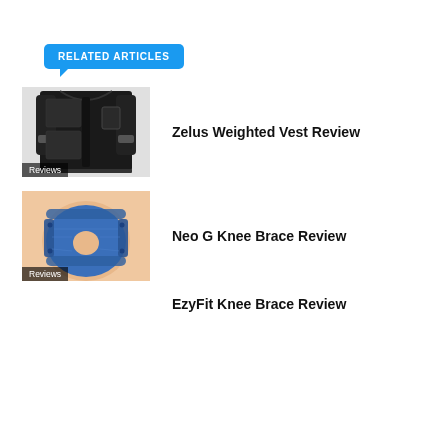RELATED ARTICLES
[Figure (photo): Black weighted vest product photo with Reviews label overlay]
Zelus Weighted Vest Review
[Figure (photo): Blue knee brace on a leg, product photo with Reviews label overlay]
Neo G Knee Brace Review
EzyFit Knee Brace Review